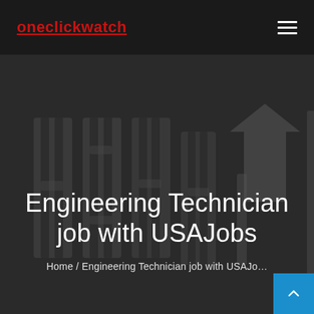oneclickwatch
[Figure (illustration): Dark background hero section with faded watermark-style graphic resembling large gothic/blackletter text characters in grey tones]
Engineering Technician job with USAJobs
Home / Engineering Technician job with USAJobs